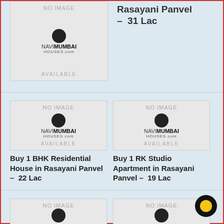Rasayani Panvel - 31 Lac
[Figure (logo): NaviMumbaiHouses.com placeholder image with NO IMAGE label and AVAILABLE text]
Buy 1 BHK Residential House in Rasayani Panvel - 22 Lac
[Figure (logo): NaviMumbaiHouses.com placeholder image with NO IMAGE label and AVAILABLE text]
Buy 1 RK Studio Apartment in Rasayani Panvel - 19 Lac
[Figure (logo): NaviMumbaiHouses.com placeholder image with NO IMAGE label and AVAILABLE text]
[Figure (logo): NaviMumbaiHouses.com placeholder image with NO IMAGE label and AVAILABLE text]